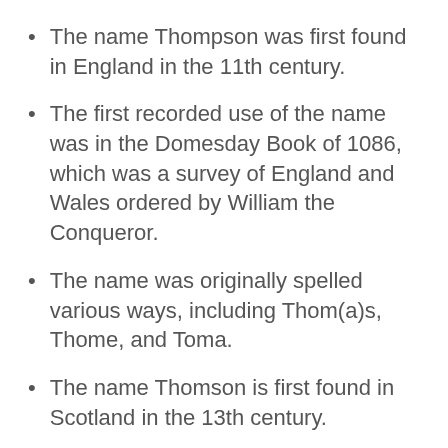The name Thompson was first found in England in the 11th century.
The first recorded use of the name was in the Domesday Book of 1086, which was a survey of England and Wales ordered by William the Conqueror.
The name was originally spelled various ways, including Thom(a)s, Thome, and Toma.
The name Thomson is first found in Scotland in the 13th century.